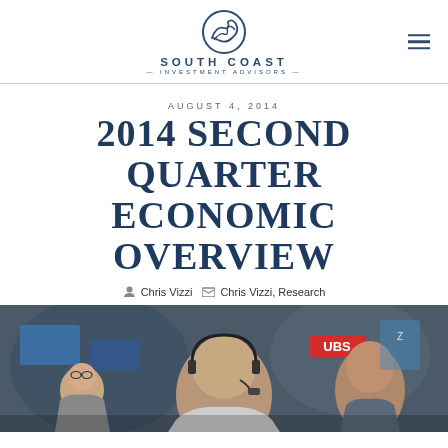South Coast Investment Advisors
AUGUST 4, 2014
2014 SECOND QUARTER ECONOMIC OVERVIEW
Chris Vizzi   Chris Vizzi, Research
[Figure (photo): Stock exchange traders on the floor, with UBS signage visible in background. Multiple people visible including a man with a headset in the foreground.]